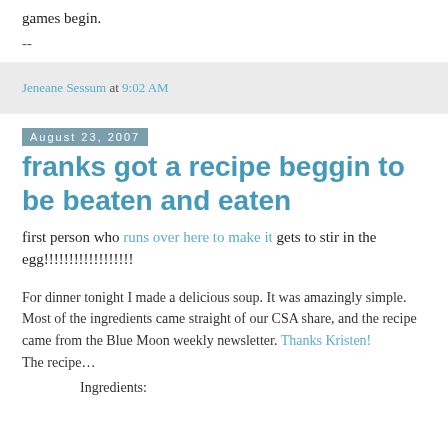games begin.
--
Jeneane Sessum at 9:02 AM
August 23, 2007
franks got a recipe beggin to be beaten and eaten
first person who runs over here to make it gets to stir in the egg!!!!!!!!!!!!!!!!!!
For dinner tonight I made a delicious soup. It was amazingly simple. Most of the ingredients came straight of our CSA share, and the recipe came from the Blue Moon weekly newsletter. Thanks Kristen!
The recipe…
Ingredients: